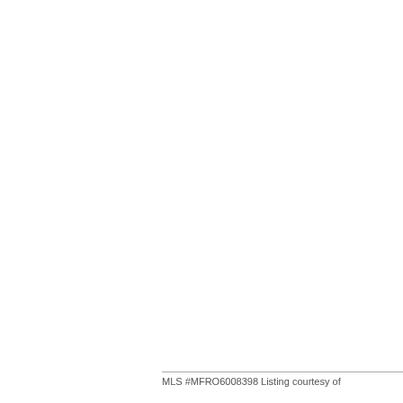MLS #MFRO6008398 Listing courtesy of